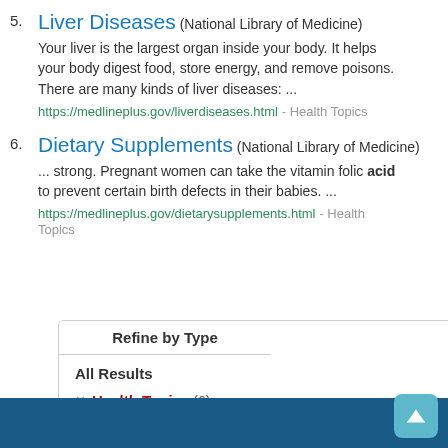5. Liver Diseases (National Library of Medicine) Your liver is the largest organ inside your body. It helps your body digest food, store energy, and remove poisons. There are many kinds of liver diseases: ... https://medlineplus.gov/liverdiseases.html - Health Topics
6. Dietary Supplements (National Library of Medicine) ... strong. Pregnant women can take the vitamin folic acid to prevent certain birth defects in their babies. ... https://medlineplus.gov/dietarysupplements.html - Health Topics
Refine by Type
All Results
Health Topics (6)